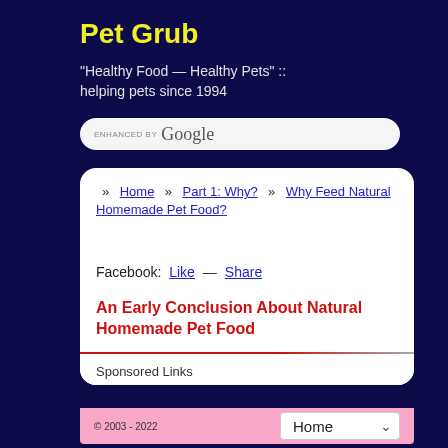Pet Grub
"Healthy Food — Healthy Pets" :: helping pets since 1994
[Figure (other): Google search bar with 'ENHANCED BY Google' text]
» Home » Part 1: Why? » Why Feed Natural Homemade Pet Food?
Facebook: Like — Share
An Early Conclusion About Natural Homemade Pet Food
Sponsored Links
© 2003 - 2022  Home